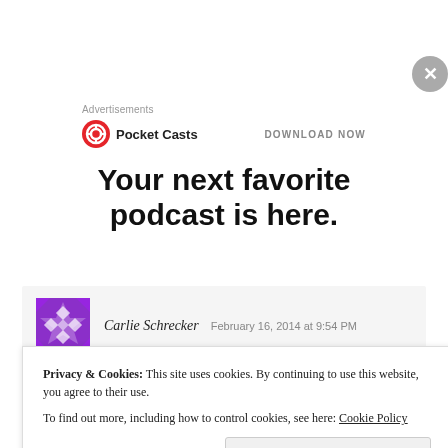Advertisements
[Figure (logo): Pocket Casts logo with red circular icon and text 'Pocket Casts', with 'DOWNLOAD NOW' link on the right]
Your next favorite podcast is here.
[Figure (screenshot): Comment section showing user avatar (purple geometric pattern), commenter name 'Carlie Schrecker', date 'February 16, 2014 at 9:54 PM', and blurred comment text below]
Privacy & Cookies: This site uses cookies. By continuing to use this website, you agree to their use.
To find out more, including how to control cookies, see here: Cookie Policy
Close and accept